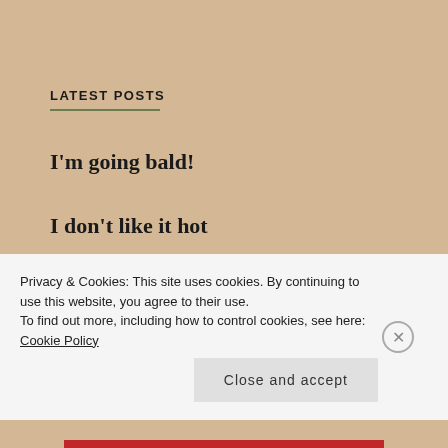LATEST POSTS
I'm going bald!
I don't like it hot
Nothing happens really
The grass is still green
Privacy & Cookies: This site uses cookies. By continuing to use this website, you agree to their use.
To find out more, including how to control cookies, see here: Cookie Policy
Close and accept